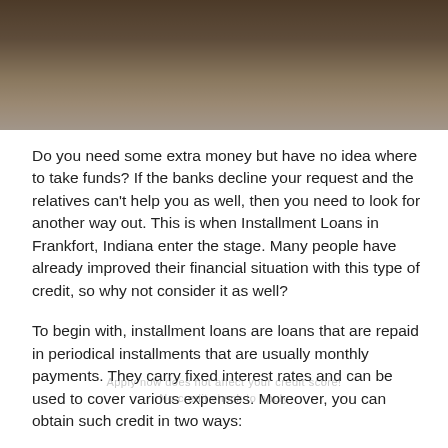[Figure (photo): Blurred dark brown photo banner at the top of the page, partially visible, showing an indistinct dark background fading to lighter tones at the bottom.]
Do you need some extra money but have no idea where to take funds? If the banks decline your request and the relatives can't help you as well, then you need to look for another way out. This is when Installment Loans in Frankfort, Indiana enter the stage. Many people have already improved their financial situation with this type of credit, so why not consider it as well?
To begin with, installment loans are loans that are repaid in periodical installments that are usually monthly payments. They carry fixed interest rates and can be used to cover various expenses. Moreover, you can obtain such credit in two ways: